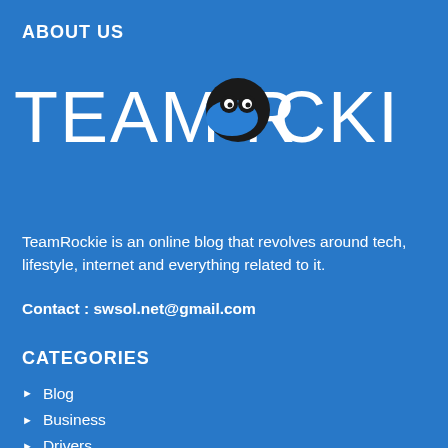ABOUT US
[Figure (logo): Team Rockie logo with large white text 'TEAM ROCKIE' and a circular mascot icon replacing the 'O' in ROCKIE]
TeamRockie is an online blog that revolves around tech, lifestyle, internet and everything related to it.
Contact : swsol.net@gmail.com
CATEGORIES
Blog
Business
Drivers
Education
Entertainment